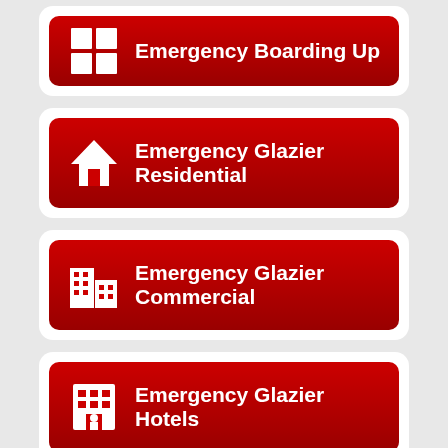[Figure (infographic): Red button with window icon and text: Emergency Boarding Up]
[Figure (infographic): Red button with house icon and text: Emergency Glazier Residential]
[Figure (infographic): Red button with commercial building icon and text: Emergency Glazier Commercial]
[Figure (infographic): Red button with hotel building icon and text: Emergency Glazier Hotels]
[Figure (infographic): Partially visible red button with text: Emergency Glazier (cut off at bottom)]